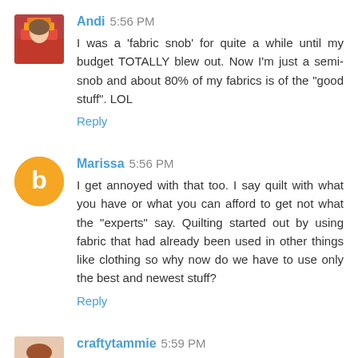Andi 5:56 PM
I was a 'fabric snob' for quite a while until my budget TOTALLY blew out. Now I'm just a semi-snob and about 80% of my fabrics is of the "good stuff". LOL
Reply
Marissa 5:56 PM
I get annoyed with that too. I say quilt with what you have or what you can afford to get not what the "experts" say. Quilting started out by using fabric that had already been used in other things like clothing so why now do we have to use only the best and newest stuff?
Reply
craftytammie 5:59 PM
heehee, I tell my husband that all the time. They used to